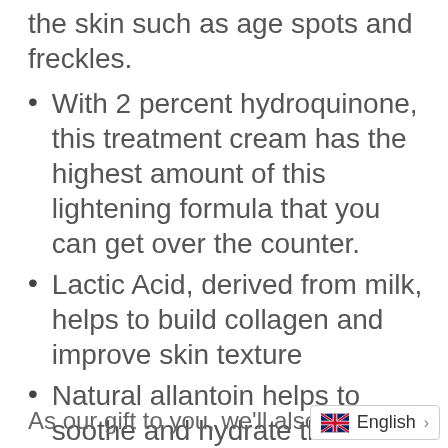the skin such as age spots and freckles.
With 2 percent hydroquinone, this treatment cream has the highest amount of this lightening formula that you can get over the counter.
Lactic Acid, derived from milk, helps to build collagen and improve skin texture
Natural allantoin helps to soothe and hydrate the skin
As our gift to you, we'll also